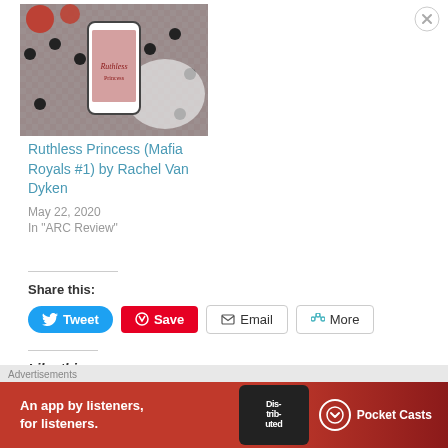[Figure (photo): Book cover photo showing a smartphone displaying 'Ruthless Princess' cover surrounded by holiday decorations on a checkered background]
Ruthless Princess (Mafia Royals #1) by Rachel Van Dyken
May 22, 2020
In "ARC Review"
Share this:
Tweet  Save  Email  More
Like this:
Advertisements
[Figure (screenshot): Pocket Casts advertisement banner: 'An app by listeners, for listeners.' with app logo and phone image]